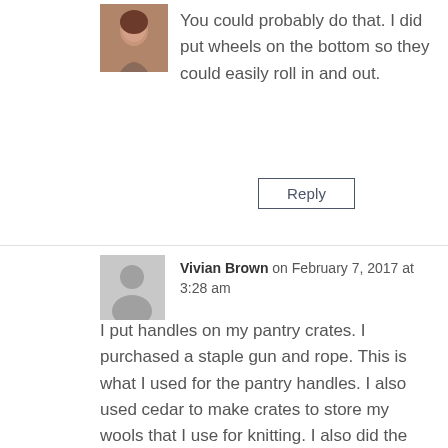[Figure (photo): Small profile photo of a woman with brown hair in the top-left area]
You could probably do that. I did put wheels on the bottom so they could easily roll in and out.
Reply
[Figure (illustration): Gray placeholder avatar silhouette icon]
Vivian Brown on February 7, 2017 at 3:28 am
I put handles on my pantry crates. I purchased a staple gun and rope. This is what I used for the pantry handles. I also used cedar to make crates to store my wools that I use for knitting. I also did the storage crate using rope for the handles.